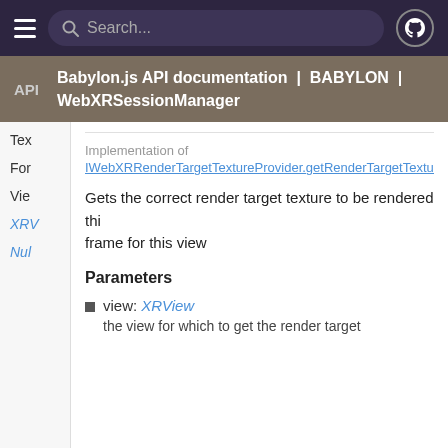Search...
Babylon.js API documentation | BABYLON | WebXRSessionManager
Tex
For
Vie
XRV
Nul
Implementation of
IWebXRRenderTargetTextureProvider.getRenderTargetTextureFo
Gets the correct render target texture to be rendered this frame for this view
Parameters
view: XRView
the view for which to get the render target